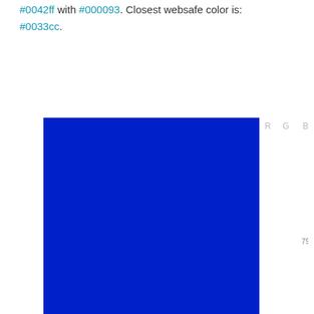#0042ff with #000093. Closest websafe color is: #0033cc.
[Figure (other): Large blue color swatch rectangle showing color #0021c9]
[Figure (bar-chart): RGB color chart]
#0021c9 color description : Strong blue.
#0021c9 Color Conversion